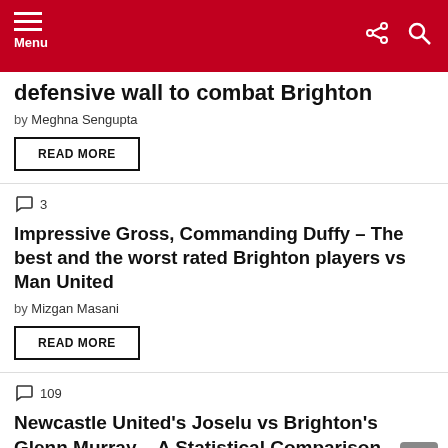Menu
defensive wall to combat Brighton
by Meghna Sengupta
READ MORE
3
Impressive Gross, Commanding Duffy – The best and the worst rated Brighton players vs Man United
by Mizgan Masani
READ MORE
109
Newcastle United's Joselu vs Brighton's Glenn Murray – A Statistical Comparison